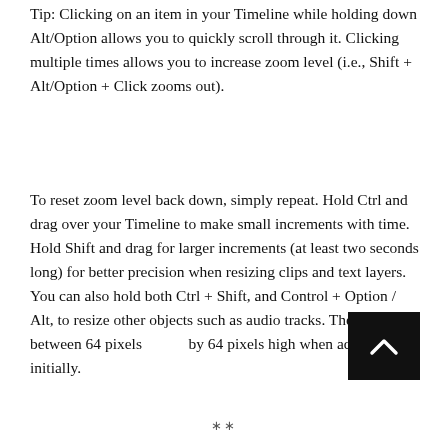Tip: Clicking on an item in your Timeline while holding down Alt/Option allows you to quickly scroll through it. Clicking multiple times allows you to increase zoom level (i.e., Shift + Alt/Option + Click zooms out).
To reset zoom level back down, simply repeat. Hold Ctrl and drag over your Timeline to make small increments with time. Hold Shift and drag for larger increments (at least two seconds long) for better precision when resizing clips and text layers. You can also hold both Ctrl + Shift, and Control + Option / Alt, to resize other objects such as audio tracks. These default between 64 pixels by 64 pixels high when added initially.
[Figure (screenshot): A small black button/UI element with an upward-pointing chevron arrow icon, representing a scroll or collapse button in a timeline interface.]